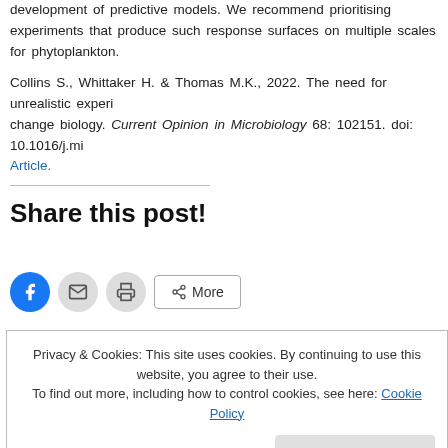development of predictive models. We recommend prioritising experiments that produce such response surfaces on multiple scales for phytoplankton.
Collins S., Whittaker H. & Thomas M.K., 2022. The need for unrealistic experiments in climate change biology. Current Opinion in Microbiology 68: 102151. doi: 10.1016/j.mi Article.
Share this post!
[Figure (other): Social sharing icons: Facebook (blue circle), Email (grey circle), Print (grey circle), and a More button with share icon]
Privacy & Cookies: This site uses cookies. By continuing to use this website, you agree to their use. To find out more, including how to control cookies, see here: Cookie Policy
Close and accept